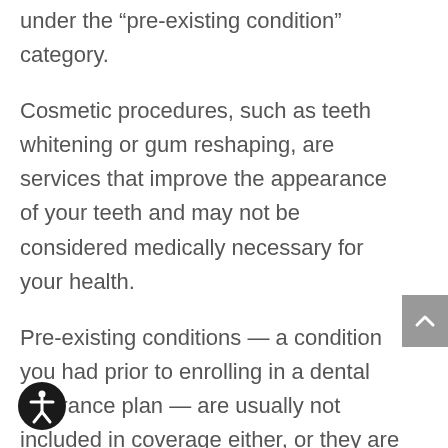under the “pre-existing condition” category.
Cosmetic procedures, such as teeth whitening or gum reshaping, are services that improve the appearance of your teeth and may not be considered medically necessary for your health.
Pre-existing conditions — a condition you had prior to enrolling in a dental insurance plan — are usually not included in coverage either, or they are tied up in a waiting period before treatment will be considered.